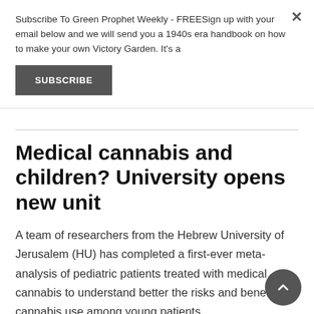Subscribe To Green Prophet Weekly - FREESign up with your email below and we will send you a 1940s era handbook on how to make your own Victory Garden. It's a
SUBSCRIBE
Medical cannabis and children? University opens new unit
A team of researchers from the Hebrew University of Jerusalem (HU) has completed a first-ever meta-analysis of pediatric patients treated with medical cannabis to understand better the risks and benefits of cannabis use among young patients.
June 29, 2021 · Lifestyle · Read more